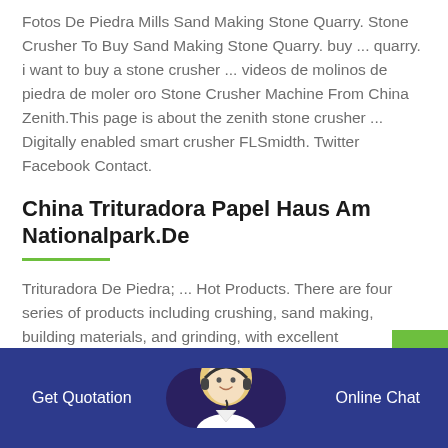Fotos De Piedra Mills Sand Making Stone Quarry. Stone Crusher To Buy Sand Making Stone Quarry. buy ... quarry. i want to buy a stone crusher ... videos de molinos de piedra de moler oro Stone Crusher Machine From China Zenith.This page is about the zenith stone crusher ... Digitally enabled smart crusher FLSmidth. Twitter Facebook Contact.
China Trituradora Papel Haus Am Nationalpark.De
Trituradora De Piedra; ... Hot Products. There are four series of products including crushing, sand making, building materials, and grinding, with excellent
Get Quotation   Online Chat